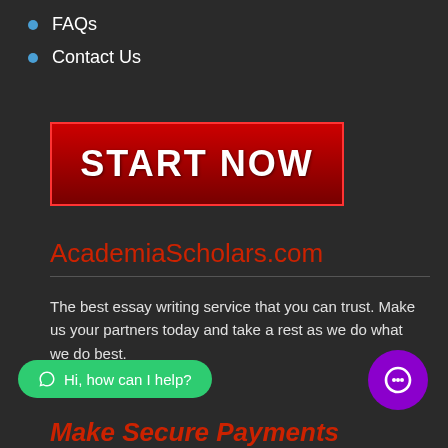FAQs
Contact Us
[Figure (other): Red START NOW button with white bold text]
AcademiaScholars.com
The best essay writing service that you can trust. Make us your partners today and take a rest as we do what we do best.
[Figure (other): Green WhatsApp chat bubble with text: Hi, how can I help?]
[Figure (other): Purple circle chat icon]
Make Secure Payments